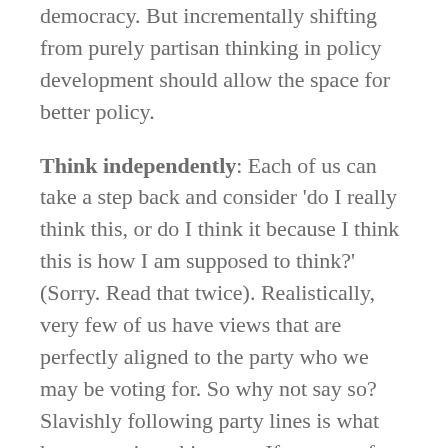democracy. But incrementally shifting from purely partisan thinking in policy development should allow the space for better policy.
Think independently: Each of us can take a step back and consider 'do I really think this, or do I think it because I think this is how I am supposed to think?' (Sorry. Read that twice). Realistically, very few of us have views that are perfectly aligned to the party who we may be voting for. So why not say so? Slavishly following party lines is what has got us into this mess. If you vote for 'Party X' but think that their 'Policy Y' is bollocks, say so! Why fight about it with your mate from 'Party Z' just because you feel it is your duty? It is not 'right'